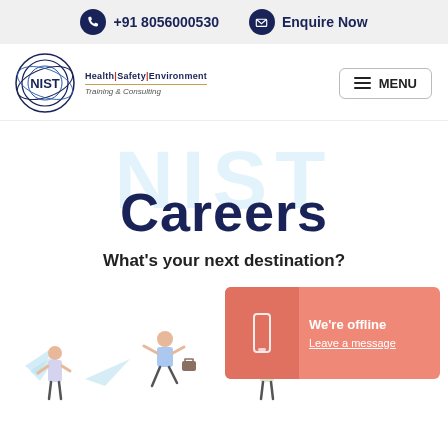+91 8056000530   Enquire Now
[Figure (logo): NIST logo circle with Health|Safety|Environment Training & Consulting text]
MENU
Careers
What's your next destination?
[Figure (illustration): People flying paper planes illustration with We're offline / Leave a message chat widget overlay]